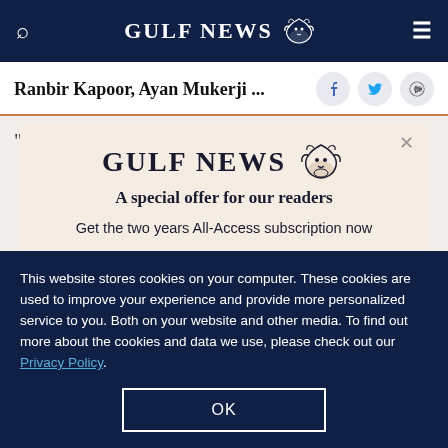GULF NEWS
Ranbir Kapoor, Ayan Mukerji ...
“It’s deep rooted in Indian culture, and we had the
[Figure (screenshot): Gulf News subscription modal overlay with logo and text: A special offer for our readers. Get the two years All-Access subscription now]
This website stores cookies on your computer. These cookies are used to improve your experience and provide more personalized service to you. Both on your website and other media. To find out more about the cookies and data we use, please check out our Privacy Policy.